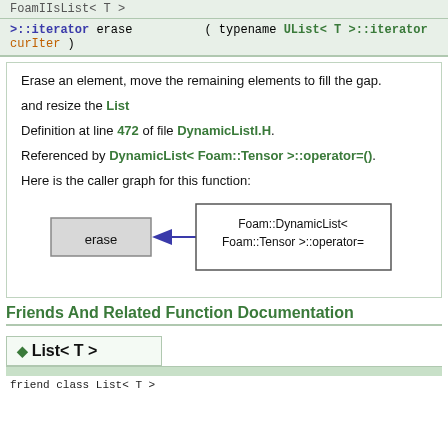FoamIIsList< T >
>>::iterator erase ( typename UList< T >::iterator curIter )
Erase an element, move the remaining elements to fill the gap.

and resize the List

Definition at line 472 of file DynamicListI.H.

Referenced by DynamicList< Foam::Tensor >::operator=().

Here is the caller graph for this function:
[Figure (flowchart): Caller graph showing erase box with arrow from Foam::DynamicList<Foam::Tensor>::operator= box]
Friends And Related Function Documentation
◆ List< T >
friend class List< T >